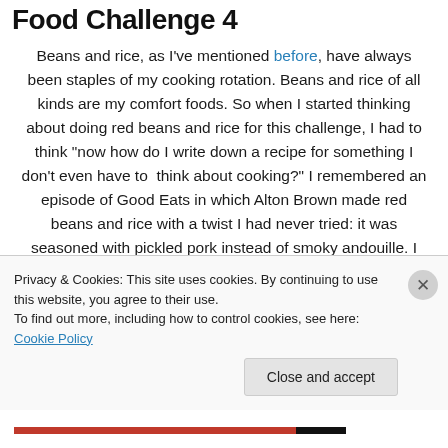Food Challenge 4
Beans and rice, as I've mentioned before, have always been staples of my cooking rotation. Beans and rice of all kinds are my comfort foods. So when I started thinking about doing red beans and rice for this challenge, I had to think "now how do I write down a recipe for something I don't even have to think about cooking?" I remembered an episode of Good Eats in which Alton Brown made red beans and rice with a twist I had never tried: it was seasoned with pickled pork instead of smoky andouille. I started looking around for recipes and began running
Privacy & Cookies: This site uses cookies. By continuing to use this website, you agree to their use.
To find out more, including how to control cookies, see here: Cookie Policy